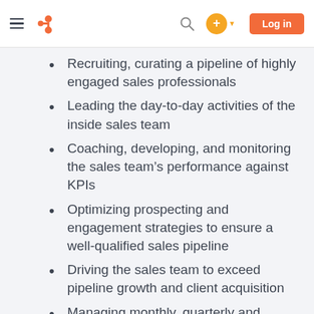HubSpot navigation bar with hamburger menu, HubSpot logo, search icon, plus button, and Log in button
Recruiting, curating a pipeline of highly engaged sales professionals
Leading the day-to-day activities of the inside sales team
Coaching, developing, and monitoring the sales team's performance against KPIs
Optimizing prospecting and engagement strategies to ensure a well-qualified sales pipeline
Driving the sales team to exceed pipeline growth and client acquisition
Managing monthly, quarterly and annual sales forecasts and